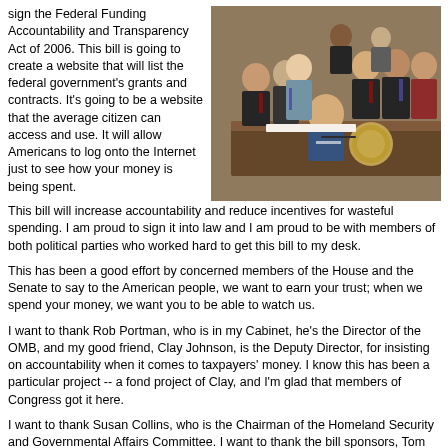sign the Federal Funding Accountability and Transparency Act of 2006. This bill is going to create a website that will list the federal government's grants and contracts. It's going to be a website that the average citizen can access and use. It will allow Americans to log onto the Internet just to see how your money is being spent. This bill will increase accountability and reduce incentives for wasteful spending. I am proud to sign it into law and I am proud to be with members of both political parties who worked hard to get this bill to my desk.
[Figure (photo): President George W. Bush seated at a desk signing the Federal Funding Accountability and Transparency Act of 2006, surrounded by members of Congress and Cabinet officials standing behind him in a formal room.]
This has been a good effort by concerned members of the House and the Senate to say to the American people, we want to earn your trust; when we spend your money, we want you to be able to watch us.
I want to thank Rob Portman, who is in my Cabinet, he's the Director of the OMB, and my good friend, Clay Johnson, is the Deputy Director, for insisting on accountability when it comes to taxpayers' money. I know this has been a particular project -- a fond project of Clay, and I'm glad that members of Congress got it here.
I want to thank Susan Collins, who is the Chairman of the Homeland Security and Governmental Affairs Committee. I want to thank the bill sponsors, Tom Coburn from Oklahoma, Tom Carper from Delaware, and Barack Obama from Illinois.